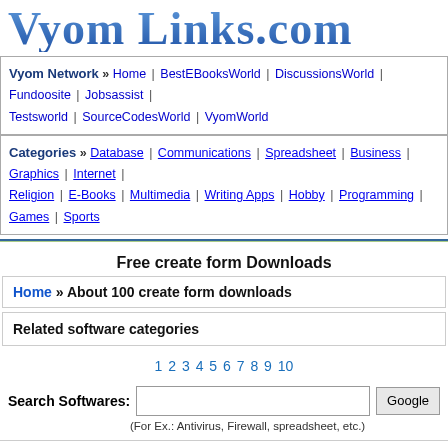Vyom Links.com
Vyom Network » Home | BestEBooksWorld | DiscussionsWorld | Fundoosite | Jobsassist | Testsworld | SourceCodesWorld | VyomWorld
Categories » Database | Communications | Spreadsheet | Business | Graphics | Internet | Religion | E-Books | Multimedia | Writing Apps | Hobby | Programming | Games | Sports
Free create form Downloads
Home » About 100 create form downloads
Related software categories
1 2 3 4 5 6 7 8 9 10
Search Softwares:
(For Ex.: Antivirus, Firewall, spreadsheet, etc.)
iNetFormFiller Freeware   Free create form do...
Stores personal data and fills web-forms automatically. Records a...